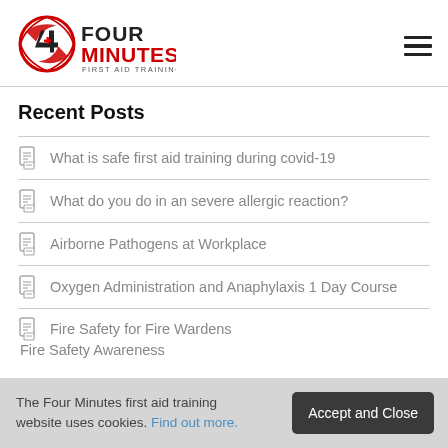Four Minutes First Aid Training
Recent Posts
What is safe first aid training during covid-19
What do you do in an severe allergic reaction?
Airborne Pathogens at Workplace
Oxygen Administration and Anaphylaxis 1 Day Course
Fire Safety for Fire Wardens
Fire Safety Awareness
The Four Minutes first aid training website uses cookies. Find out more.